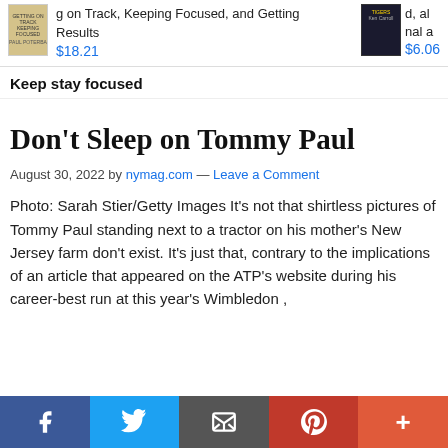[Figure (other): Product image for a focus/productivity book with price $18.21]
g on Track, Keeping Focused, and Getting Results
$18.21
[Figure (other): Product image for a dark-covered book with price $6.06]
nal a
$6.06
Keep stay focused
Don't Sleep on Tommy Paul
August 30, 2022 by nymag.com — Leave a Comment
Photo: Sarah Stier/Getty Images It's not that shirtless pictures of Tommy Paul standing next to a tractor on his mother's New Jersey farm don't exist. It's just that, contrary to the implications of an article that appeared on the ATP's website during his career-best run at this year's Wimbledon ,
[Figure (other): Social sharing toolbar with Facebook, Twitter, Email, Pinterest, and More buttons]